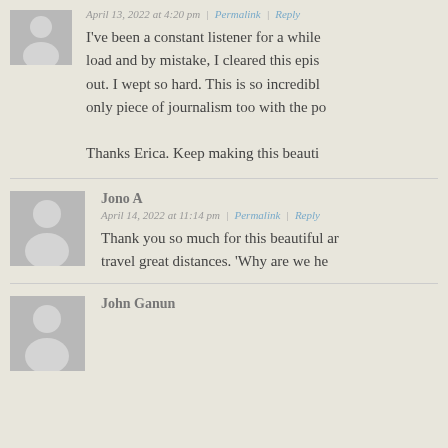[Figure (illustration): Gray placeholder avatar silhouette icon for anonymous user]
April 13, 2022 at 4:20 pm | Permalink | Reply
I've been a constant listener for a while load and by mistake, I cleared this epis out. I wept so hard. This is so incredibly only piece of journalism too with the po

Thanks Erica. Keep making this beauti
[Figure (illustration): Gray placeholder avatar silhouette icon for Jono A]
Jono A
April 14, 2022 at 11:14 pm | Permalink | Reply
Thank you so much for this beautiful ar travel great distances. 'Why are we he
[Figure (illustration): Gray placeholder avatar silhouette icon for John Ganun]
John Ganun